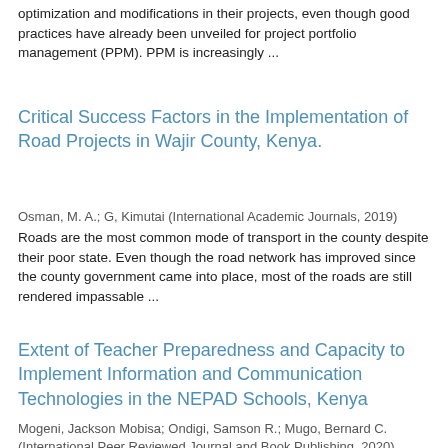optimization and modifications in their projects, even though good practices have already been unveiled for project portfolio management (PPM). PPM is increasingly ...
Critical Success Factors in the Implementation of Road Projects in Wajir County, Kenya.
Osman, M. A.; G, Kimutai (International Academic Journals, 2019)
Roads are the most common mode of transport in the county despite their poor state. Even though the road network has improved since the county government came into place, most of the roads are still rendered impassable ...
Extent of Teacher Preparedness and Capacity to Implement Information and Communication Technologies in the NEPAD Schools, Kenya
Mogeni, Jackson Mobisa; Ondigi, Samson R.; Mugo, Bernard C. (International Peer Reviewed Journal and Book Publishing, 2020)
Purpose: The purpose of this study was to determine the extent to